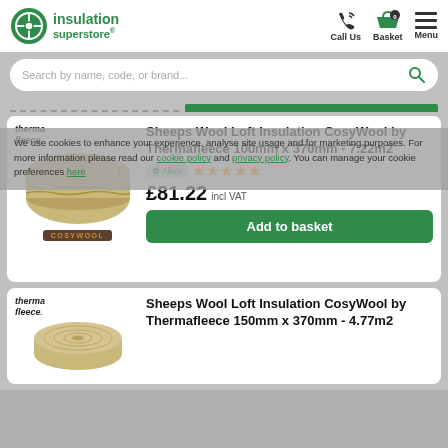[Figure (logo): Insulation Superstore logo with green circle icon and green text]
Call Us
Basket 0
Menu
Search by name, code, or brand...
We use cookies to enhance your experience, analyse site usage and for marketing purposes. For more information please read our cookie policy and privacy policy. You can manage your cookie preferences here
Sheeps Wool Loft Insulation CosyWool by Thermafleece 100mm x 370mm - 7.22m2
£81.22 incl VAT
Add to basket
Sheeps Wool Loft Insulation CosyWool by Thermafleece 150mm x 370mm - 4.77m2